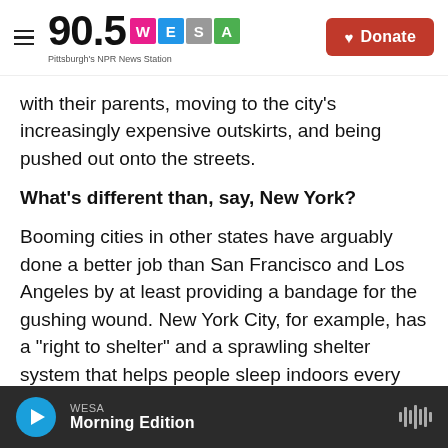90.5 WESA — Pittsburgh's NPR News Station | Donate
with their parents, moving to the city's increasingly expensive outskirts, and being pushed out onto the streets.
What's different than, say, New York?
Booming cities in other states have arguably done a better job than San Francisco and Los Angeles by at least providing a bandage for the gushing wound. New York City, for example, has a "right to shelter" and a sprawling shelter system that helps people sleep indoors every night. New York City has a rate of homelessness similar to San
WESA — Morning Edition